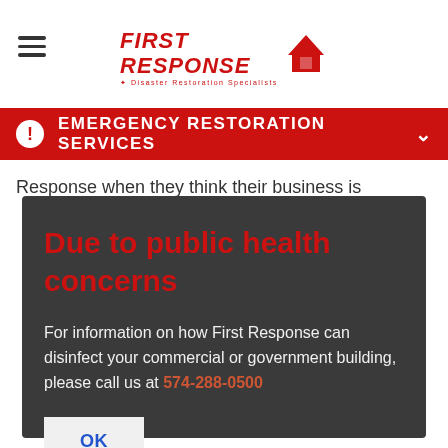[Figure (logo): First Response Disaster Restoration Specialists logo in red with stylized text and roof icon]
EMERGENCY RESTORATION SERVICES
Response when they think their business is
Due to public health concerns
For information on how First Response can disinfect your commercial or government building, please call us at 574-288-0500
OK